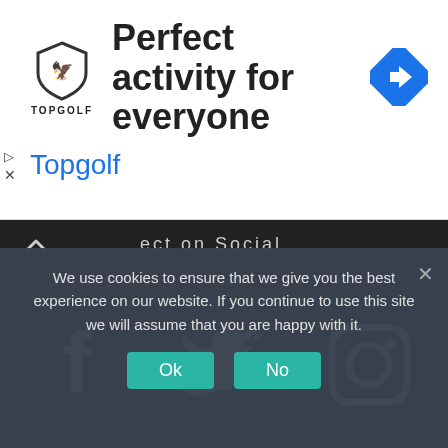[Figure (screenshot): Topgolf advertisement banner with shield logo, title 'Perfect activity for everyone', blue subtitle 'Topgolf', and blue navigation diamond icon on the right. Small play and X controls on the left.]
ect on Social
[Figure (illustration): Dark background section showing Facebook, Twitter/bird, and Instagram social media icons in white.]
[Figure (other): Partial grey circle peeking from below the dark social section.]
We use cookies to ensure that we give you the best experience on our website. If you continue to use this site we will assume that you are happy with it.